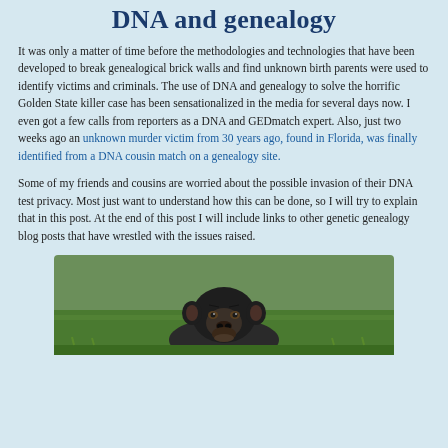DNA and genealogy
It was only a matter of time before the methodologies and technologies that have been developed to break genealogical brick walls and find unknown birth parents were used to identify victims and criminals. The use of DNA and genealogy to solve the horrific Golden State killer case has been sensationalized in the media for several days now. I even got a few calls from reporters as a DNA and GEDmatch expert. Also, just two weeks ago an unknown murder victim from 30 years ago, found in Florida, was finally identified from a DNA cousin match on a genealogy site.
Some of my friends and cousins are worried about the possible invasion of their DNA test privacy. Most just want to understand how this can be done, so I will try to explain that in this post. At the end of this post I will include links to other genetic genealogy blog posts that have wrestled with the issues raised.
[Figure (photo): A chimpanzee lying on grass, looking at the camera]